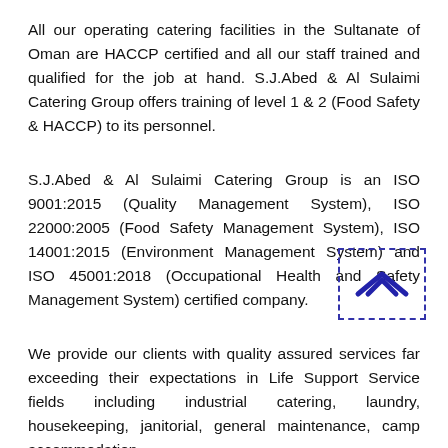All our operating catering facilities in the Sultanate of Oman are HACCP certified and all our staff trained and qualified for the job at hand. S.J.Abed & Al Sulaimi Catering Group offers training of level 1 & 2 (Food Safety & HACCP) to its personnel.
S.J.Abed & Al Sulaimi Catering Group is an ISO 9001:2015 (Quality Management System), ISO 22000:2005 (Food Safety Management System), ISO 14001:2015 (Environment Management System) and ISO 45001:2018 (Occupational Health and Safety Management System) certified company.
We provide our clients with quality assured services far exceeding their expectations in Life Support Service fields including industrial catering, laundry, housekeeping, janitorial, general maintenance, camp accommodation